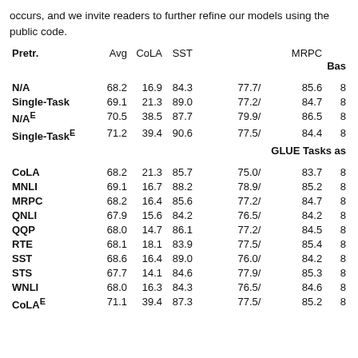occurs, and we invite readers to further refine our models using the public code.
| Pretr. | Avg | CoLA | SST | MRPC |  | Bas |
| --- | --- | --- | --- | --- | --- | --- |
| N/A | 68.2 | 16.9 | 84.3 | 77.7/ | 85.6 | 8 |
| Single-Task | 69.1 | 21.3 | 89.0 | 77.2/ | 84.7 | 8 |
| N/AE | 70.5 | 38.5 | 87.7 | 79.9/ | 86.5 | 8 |
| Single-TaskE | 71.2 | 39.4 | 90.6 | 77.5/ | 84.4 | 8 |
| GLUE Tasks as |  |  |  |  |  |  |
| CoLA | 68.2 | 21.3 | 85.7 | 75.0/ | 83.7 | 8 |
| MNLI | 69.1 | 16.7 | 88.2 | 78.9/ | 85.2 | 8 |
| MRPC | 68.2 | 16.4 | 85.6 | 77.2/ | 84.7 | 8 |
| QNLI | 67.9 | 15.6 | 84.2 | 76.5/ | 84.2 | 8 |
| QQP | 68.0 | 14.7 | 86.1 | 77.2/ | 84.5 | 8 |
| RTE | 68.1 | 18.1 | 83.9 | 77.5/ | 85.4 | 8 |
| SST | 68.6 | 16.4 | 89.0 | 76.0/ | 84.2 | 8 |
| STS | 67.7 | 14.1 | 84.6 | 77.9/ | 85.3 | 8 |
| WNLI | 68.0 | 16.3 | 84.3 | 76.5/ | 84.6 | 8 |
| CoLAE | 71.1 | 39.4 | 87.3 | 77.5/ | 85.2 | 8 |